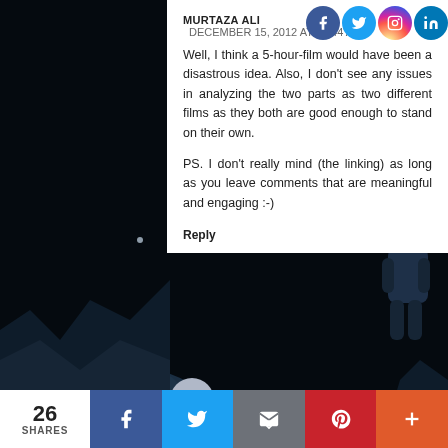[Figure (photo): Dark space/moon surface scene as background with astronaut figure visible on right side]
MURTAZA ALI  DECEMBER 15, 2012 AT 11:44 AM
Well, I think a 5-hour-film would have been a disastrous idea. Also, I don't see any issues in analyzing the two parts as two different films as they both are good enough to stand on their own.

PS. I don't really mind (the linking) as long as you leave comments that are meaningful and engaging :-)
Reply
Enter Comment
26
SHARES